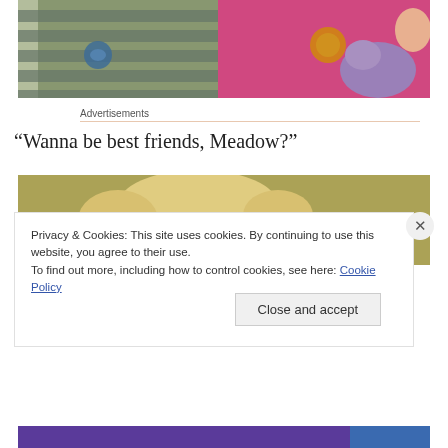[Figure (photo): Two children shown from torso down — one in a striped shirt with whale logo, one in pink shirt holding a purple stuffed animal]
Advertisements
“Wanna be best friends, Meadow?”
[Figure (photo): Close-up of a child's head with blonde hair against a yellow-green background]
Privacy & Cookies: This site uses cookies. By continuing to use this website, you agree to their use.
To find out more, including how to control cookies, see here: Cookie Policy